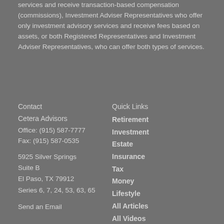services and receive transaction-based compensation (commissions), Investment Adviser Representatives who offer only investment advisory services and receive fees based on assets, or both Registered Representatives and Investment Adviser Representatives, who can offer both types of services.
Contact
Cetera Advisors
Office: (915) 587-7777
Fax: (915) 587-0535
5925 Silver Springs
Suite B
El Paso, TX 79912
Series 6, 7, 24, 53, 63, 65
Send an Email
Quick Links
Retirement
Investment
Estate
Insurance
Tax
Money
Lifestyle
All Articles
All Videos
All Calculators
All Presentations